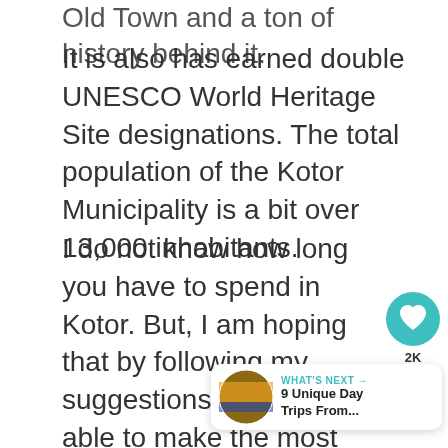Old Town and a ton of history behind it.
It is also has earned double UNESCO World Heritage Site designations. The total population of the Kotor Municipality is a bit over 13,000 inhabitants.
I do not know how long you have to spend in Kotor. But, I am hoping that by following my suggestions you will be able to make the most of every single moment you are there.
[Figure (infographic): Heart/like button (teal circle with heart icon) showing 2K likes, and a share button below it]
[Figure (infographic): What's Next widget showing a circular thumbnail image and text: WHAT'S NEXT → 9 Unique Day Trips From...]